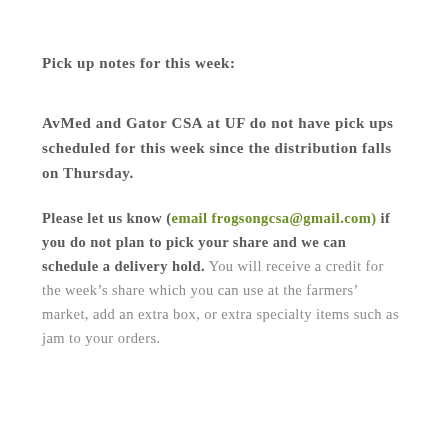Pick up notes for this week:
AvMed and Gator CSA at UF do not have pick ups scheduled for this week since the distribution falls on Thursday.
Please let us know (email frogsongcsa@gmail.com) if you do not plan to pick your share and we can schedule a delivery hold. You will receive a credit for the week’s share which you can use at the farmers’ market, add an extra box, or extra specialty items such as jam to your orders.